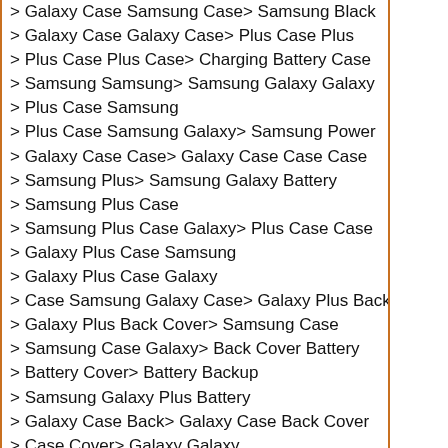> Galaxy Case Samsung Case> Samsung Black
> Galaxy Case Galaxy Case> Plus Case Plus
> Plus Case Plus Case> Charging Battery Case
> Samsung Samsung> Samsung Galaxy Galaxy
> Plus Case Samsung
> Plus Case Samsung Galaxy> Samsung Power
> Galaxy Case Case> Galaxy Case Case Case
> Samsung Plus> Samsung Galaxy Battery
> Samsung Plus Case
> Samsung Plus Case Galaxy> Plus Case Case
> Galaxy Plus Case Samsung
> Galaxy Plus Case Galaxy
> Case Samsung Galaxy Case> Galaxy Plus Back
> Galaxy Plus Back Cover> Samsung Case
> Samsung Case Galaxy> Back Cover Battery
> Battery Cover> Battery Backup
> Samsung Galaxy Plus Battery
> Galaxy Case Back> Galaxy Case Back Cover
> Case Cover> Galaxy Galaxy
> Samsung Galaxy Cover
> Samsung Galaxy Galaxy Galaxy